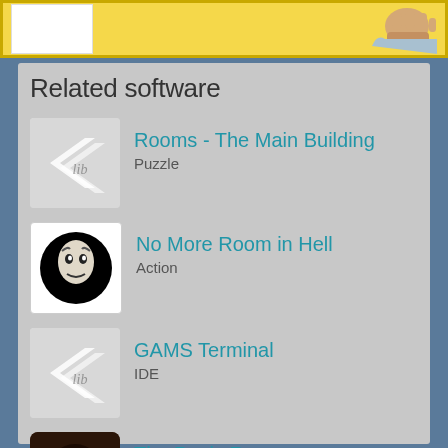[Figure (screenshot): Top yellow banner with white box on left and illustrated fist/arm on right]
Related software
Rooms - The Main Building
Puzzle
No More Room in Hell
Action
GAMS Terminal
IDE
The Panic Room
Puzzle